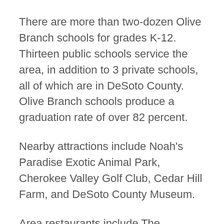There are more than two-dozen Olive Branch schools for grades K-12. Thirteen public schools service the area, in addition to 3 private schools, all of which are in DeSoto County. Olive Branch schools produce a graduation rate of over 82 percent.
Nearby attractions include Noah's Paradise Exotic Animal Park, Cherokee Valley Golf Club, Cedar Hill Farm, and DeSoto County Museum.
Area restaurants include The Neighborhood Grill, Rancho Grande Mexican food, Urban Japanese Fusion Cuisine, and Side Street Burgers, just to name a few.
Local shops feature the Pink Coconut Boutique,